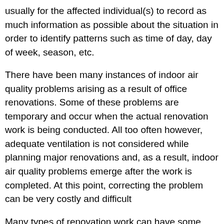usually for the affected individual(s) to record as much information as possible about the situation in order to identify patterns such as time of day, day of week, season, etc.
There have been many instances of indoor air quality problems arising as a result of office renovations. Some of these problems are temporary and occur when the actual renovation work is being conducted. All too often however, adequate ventilation is not considered while planning major renovations and, as a result, indoor air quality problems emerge after the work is completed. At this point, correcting the problem can be very costly and difficult
Many types of renovation work can have some impact on individuals working in the area since the work will usually be quite different from typical office activities and there may be distracting noise, odors and activities. Air quality may be affected if, for example, dust or paint odors are generated. In